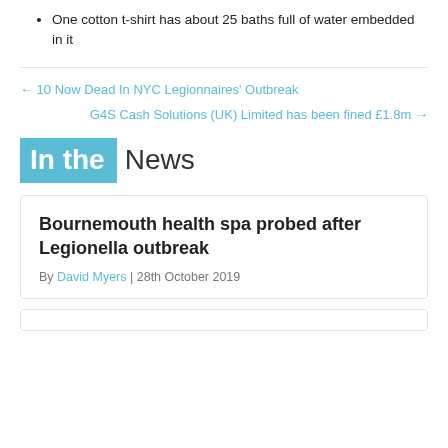One cotton t-shirt has about 25 baths full of water embedded in it
← 10 Now Dead In NYC Legionnaires' Outbreak
G4S Cash Solutions (UK) Limited has been fined £1.8m →
In the News
Bournemouth health spa probed after Legionella outbreak
By David Myers | 28th October 2019